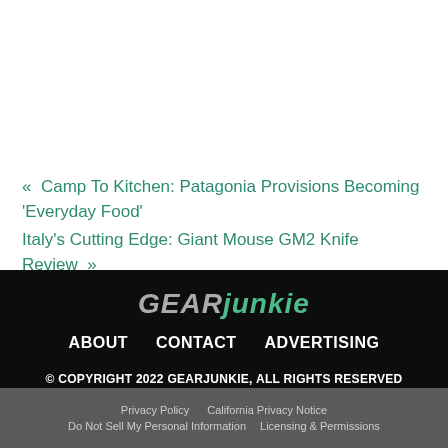« Camp To Kitchen: Patagonia Provisions Becoming 'Everyday Food'
Italy's Cutting Edge: Giant Mouse GM2 Knife Review »
[Figure (logo): GearJunkie logo in stylized italic text, 'GEAR' in gray and 'junkie' in teal/green]
ABOUT   CONTACT   ADVERTISING
© COPYRIGHT 2022 GEARJUNKIE, ALL RIGHTS RESERVED
Privacy Policy   California Privacy Notice   Do Not Sell My Personal Information   Licensing & Permissions